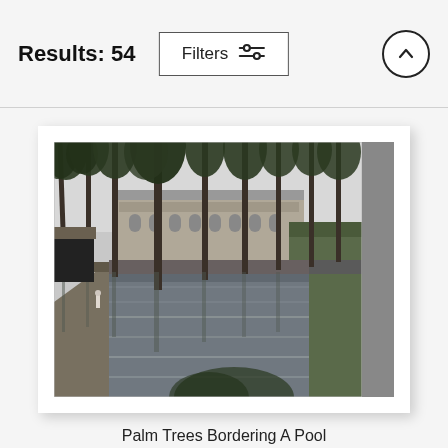Results: 54
[Figure (photo): Black and white photograph of tall palm trees bordering a reflective pool, with a large classical building visible in the background. A single person is visible on the left pathway.]
Palm Trees Bordering A Pool